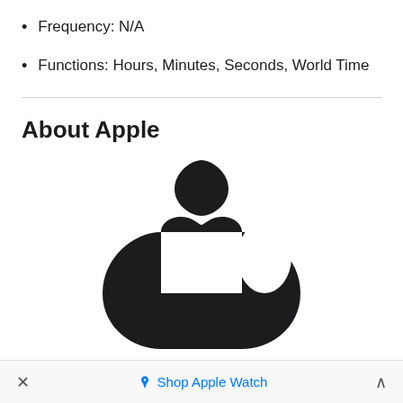Frequency: N/A
Functions: Hours, Minutes, Seconds, World Time
About Apple
[Figure (logo): Apple logo in black — large apple shape with bite taken out on right side and leaf on top, partially cropped at bottom]
× 🏷 Shop Apple Watch ^